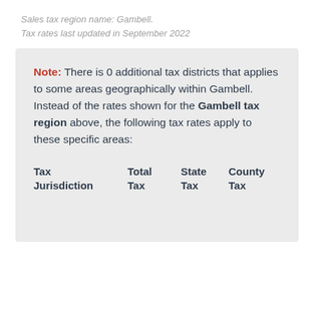Sales tax region name: Gambell.
Tax rates last updated in September 2022
Note: There is 0 additional tax districts that applies to some areas geographically within Gambell. Instead of the rates shown for the Gambell tax region above, the following tax rates apply to these specific areas:
| Tax Jurisdiction | Total Tax | State Tax | County Tax | City Tax | Special Tax | In These Zip Codes |
| --- | --- | --- | --- | --- | --- | --- |